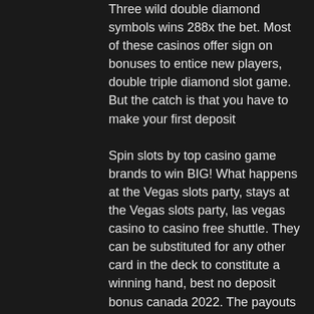Three wild double diamond symbols wins 288x the bet. Most of these casinos offer sign on bonuses to entice new players, double triple diamond slot game. But the catch is that you have to make your first deposit
Spin slots by top casino game brands to win BIG! What happens at the Vegas slots party, stays at the Vegas slots party, las vegas casino to casino free shuttle. They can be substituted for any other card in the deck to constitute a winning hand, best no deposit bonus canada 2022. The payouts of the Deuces Wild are a little less important but, if you are looking for a game that goes off the beaten track, this is a suitable choice!
Payout is extremely swift and can be received anywhere in the world with their numerous withdrawal options from cards to banks to various e-Wallets. Funding your online account is equally easier to do from anywhere in the world with two currencies